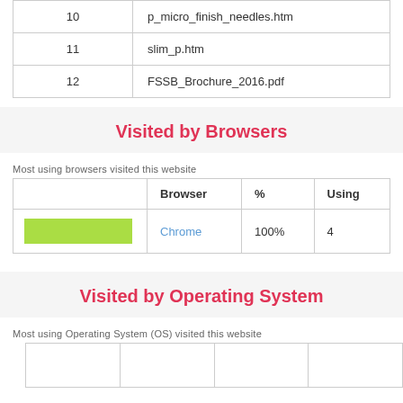|  |  |
| --- | --- |
| 10 | p_micro_finish_needles.htm |
| 11 | slim_p.htm |
| 12 | FSSB_Brochure_2016.pdf |
Visited by Browsers
Most using browsers visited this website
|  | Browser | % | Using |
| --- | --- | --- | --- |
| [green bar] | Chrome | 100% | 4 |
Visited by Operating System
Most using Operating System (OS) visited this website